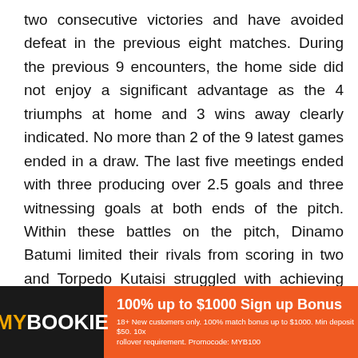two consecutive victories and have avoided defeat in the previous eight matches. During the previous 9 encounters, the home side did not enjoy a significant advantage as the 4 triumphs at home and 3 wins away clearly indicated. No more than 2 of the 9 latest games ended in a draw. The last five meetings ended with three producing over 2.5 goals and three witnessing goals at both ends of the pitch. Within these battles on the pitch, Dinamo Batumi limited their rivals from scoring in two and Torpedo Kutaisi struggled with achieving that feat. The antecedent five clashes ended with an average of 2.80 goals.
[Figure (infographic): MyBookie advertisement banner with orange background. Logo shows 'MY' in gold and 'BOOKIE' in white on black background. Text reads '100% up to $1000 Sign up Bonus'. Fine print: '18+ New customers only. 100% match bonus up to $1000. Min deposit $50. 10x rollover requirement. Promocode: MYB100']